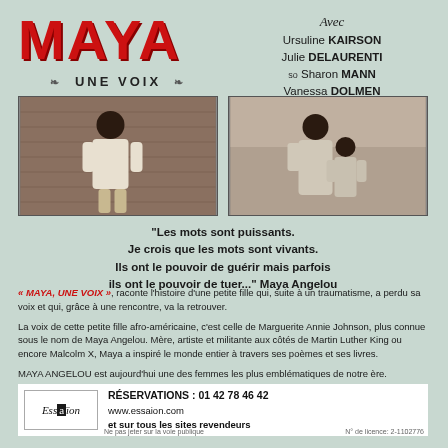MAYA — UNE VOIX
Avec
Ursuline KAIRSON
Julie DELAURENTI
so Sharon MANN
Vanessa DOLMEN
Tiffany HOFSTETTER
as Elizabeth WAUTLET
Audrey MIKONDO
[Figure (photo): Black and white photo of a woman in white dress standing against a brick wall]
[Figure (photo): Black and white photo of a woman with a child]
"Les mots sont puissants. Je crois que les mots sont vivants. Ils ont le pouvoir de guérir mais parfois ils ont le pouvoir de tuer..." Maya Angelou
« MAYA, UNE VOIX », raconte l'histoire d'une petite fille qui, suite à un traumatisme, a perdu sa voix et qui, grâce à une rencontre, va la retrouver.
La voix de cette petite fille afro-américaine, c'est celle de Marguerite Annie Johnson, plus connue sous le nom de Maya Angelou. Mère, artiste et militante aux côtés de Martin Luther King ou encore Malcolm X, Maya a inspiré le monde entier à travers ses poèmes et ses livres.
MAYA ANGELOU est aujourd'hui une des femmes les plus emblématiques de notre ère.
RÉSERVATIONS : 01 42 78 46 42
www.essaion.com
et sur tous les sites revendeurs
Ne pas jeter sur la voie publique   N° de licence: 2-1102776